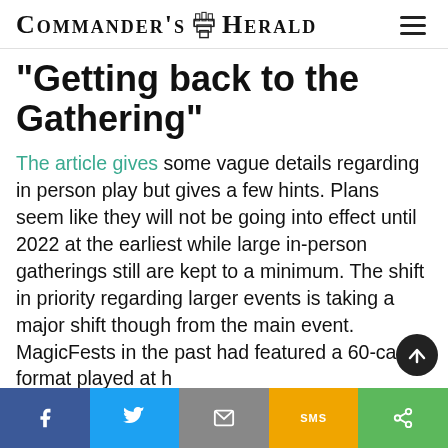Commander's Herald
"Getting back to the Gathering"
The article gives some vague details regarding in person play but gives a few hints. Plans seem like they will not be going into effect until 2022 at the earliest while large in-person gatherings still are kept to a minimum. The shift in priority regarding larger events is taking a major shift though from the main event. MagicFests in the past had featured a 60-card format played at high levels with side events for more casual
f  [Twitter bird]  [envelope]  SMS  [share]